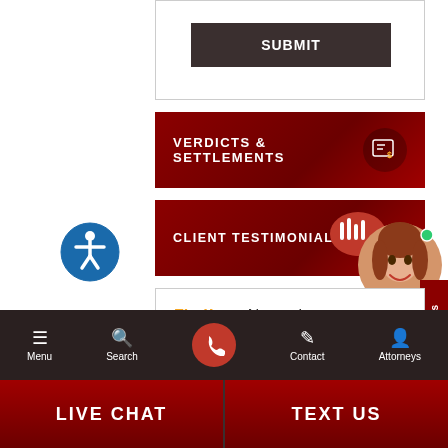[Figure (screenshot): Submit button in dark brown/charcoal form area]
[Figure (screenshot): Verdicts & Settlements navigation banner in dark red with map/dollar icon]
[Figure (screenshot): Client Testimonials navigation banner in dark red]
[Figure (screenshot): Accessibility icon (blue circle with person in wheelchair)]
[Figure (screenshot): Online Agent chat bubble with live agent photo of woman with red hair, green dot indicator]
FindLaw. Network
[Figure (screenshot): Mobile navigation bar with Menu, Search, Call (red circle), Contact, Attorneys icons]
[Figure (screenshot): LIVE CHAT and TEXT US action buttons at bottom]